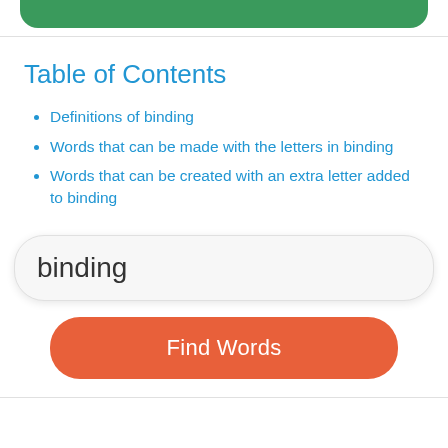[Figure (other): Green rounded bar at top of page]
Table of Contents
Definitions of binding
Words that can be made with the letters in binding
Words that can be created with an extra letter added to binding
binding
Find Words